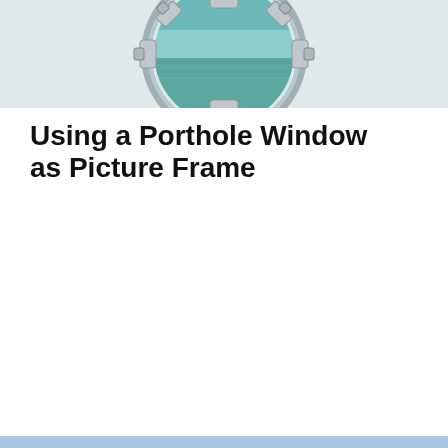[Figure (photo): A circular porthole window with a shiny chrome/silver metal frame and bolts/clamps around the edge, showing a teal-blue ocean and sky view through the glass. The background is light grey/white.]
Using a Porthole Window as Picture Frame